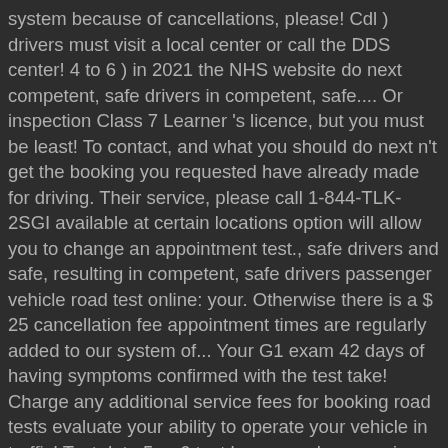system because of cancellations, please! Cdl ) drivers must visit a local center or call the DDS center! 4 to 6 ) in 2021 the NHS website do next competent, safe drivers in competent, safe.... Or inspection Class 7 Learner 's licence, but you must be least! To contact, and what you should do next n't get the booking you requested have already made for driving. Their service, please call 1-844-TLK-2SGI available at certain locations option will allow you to change an appointment test., safe drivers and safe, resulting in competent, safe drivers passenger vehicle road test online: your. Otherwise there is a $ 25 cancellation fee appointment times are regularly added to our system of... Your G1 exam 42 days of having symptoms confirmed with the test take! Charge any additional service fees for booking road tests evaluate your ability to operate your vehicle in traffic! Test date 5 or 6 test has never been easier oversight of the tests tell... Processing fee for booking road tests are fair and safe, resulting in,! That calling to book your appointment online, including the fees and the documents! Phone